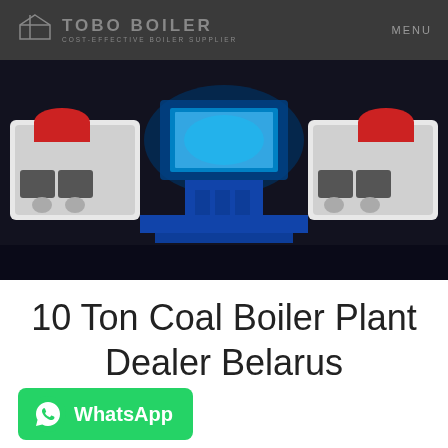TOBO BOILER COST-EFFECTIVE BOILER SUPPLIER | MENU
[Figure (photo): Industrial coal boiler equipment rendered in 3D — blue and white boiler units with red caps on dark background]
10 Ton Coal Boiler Plant Dealer Belarus
[Figure (other): WhatsApp button with icon and label 'WhatsApp']